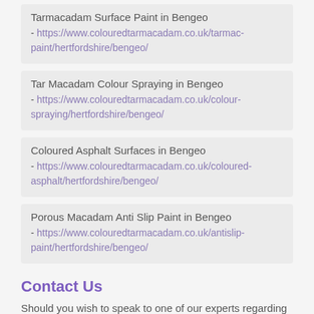Tarmacadam Surface Paint in Bengeo - https://www.colouredtarmacadam.co.uk/tarmac-paint/hertfordshire/bengeo/
Tar Macadam Colour Spraying in Bengeo - https://www.colouredtarmacadam.co.uk/colour-spraying/hertfordshire/bengeo/
Coloured Asphalt Surfaces in Bengeo - https://www.colouredtarmacadam.co.uk/coloured-asphalt/hertfordshire/bengeo/
Porous Macadam Anti Slip Paint in Bengeo - https://www.colouredtarmacadam.co.uk/antislip-paint/hertfordshire/bengeo/
Contact Us
Should you wish to speak to one of our experts regarding painting your macadam drive or the installation of colour macadam for your